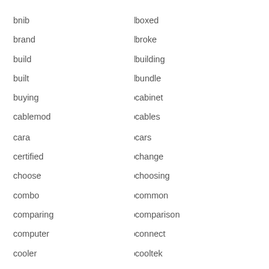bnib
boxed
brand
broke
build
building
built
bundle
buying
cabinet
cablemod
cables
cara
cars
certified
change
choose
choosing
combo
common
comparing
comparison
computer
connect
cooler
cooltek
corsai
corsair